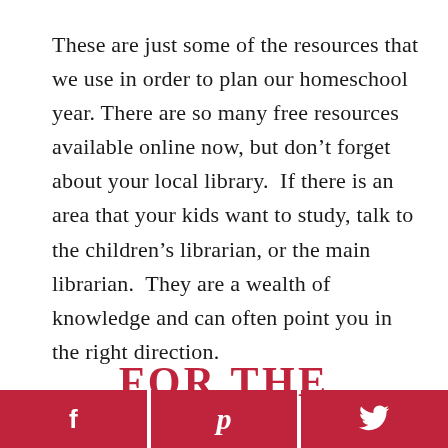These are just some of the resources that we use in order to plan our homeschool year. There are so many free resources available online now, but don’t forget about your local library.  If there is an area that your kids want to study, talk to the children’s librarian, or the main librarian.  They are a wealth of knowledge and can often point you in the right direction.
FOR THE
[Figure (infographic): Social sharing bar with three buttons: Facebook (f), Pinterest (p), Twitter (bird icon), in dark red/crimson color.]